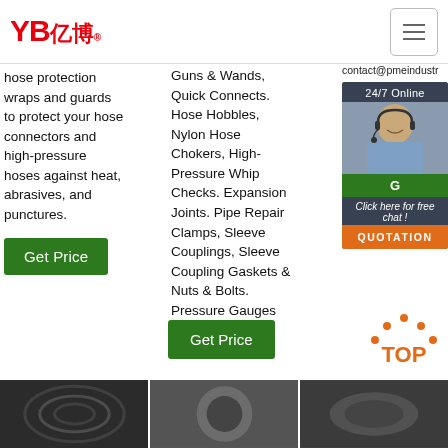[Figure (logo): YB亿博 logo in red with registered trademark symbol and Chinese characters]
[Figure (other): Hamburger menu icon button in top right corner]
hose protection wraps and guards to protect your hose connectors and high-pressure hoses against heat, abrasives, and punctures.
[Figure (other): Green Get Price button]
Guns & Wands, Quick Connects. Hose Hobbles, Nylon Hose Chokers, High-Pressure Whip Checks. Expansion Joints. Pipe Repair Clamps, Sleeve Couplings, Sleeve Coupling Gaskets & Nuts & Bolts. Pressure Gauges
contact@pmeindustr
[Figure (other): 24/7 Online chat widget with agent photo, Click here for free chat text, and QUOTATION orange button]
[Figure (other): Green Get Price button for column 2]
[Figure (other): TOP navigation icon with orange dots]
[Figure (photo): Three bottom thumbnail images showing industrial hose/pipe products]